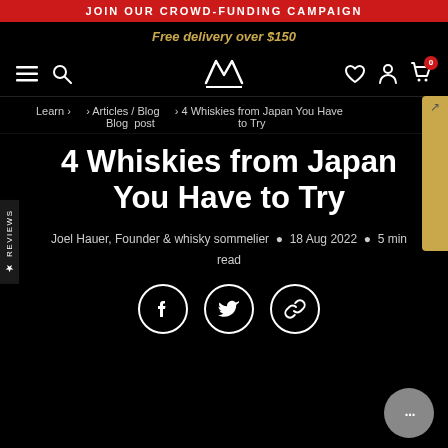JOIN OUR CROWD-FUNDING CAMPAIGN
Free delivery over $150
Navigation bar with hamburger menu, search, logo, wishlist, account, cart (0)
Learn › › Articles / Blog › 4 Whiskies from Japan You Have to Try
Blog post
4 Whiskies from Japan You Have to Try
Joel Hauer, Founder & whisky sommelier • 18 Aug 2022 • 5 min read
[Figure (infographic): Social sharing icons: Facebook, Twitter, Link/copy URL]